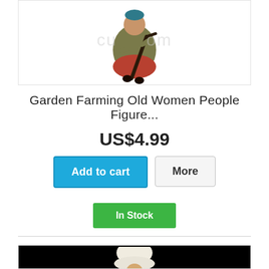[Figure (photo): Garden figurine of an old woman in a brown and red dress holding a dark curved tool, on white background with faint watermark text]
Garden Farming Old Women People Figure...
US$4.99
Add to cart
More
In Stock
[Figure (photo): Partial image of a chef figurine on black background, only top of chef hat visible]